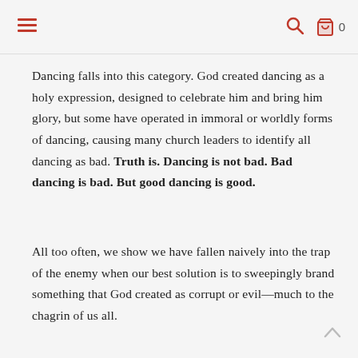≡  🔍  🛍 0
Dancing falls into this category. God created dancing as a holy expression, designed to celebrate him and bring him glory, but some have operated in immoral or worldly forms of dancing, causing many church leaders to identify all dancing as bad. Truth is. Dancing is not bad. Bad dancing is bad. But good dancing is good.
All too often, we show we have fallen naively into the trap of the enemy when our best solution is to sweepingly brand something that God created as corrupt or evil—much to the chagrin of us all.